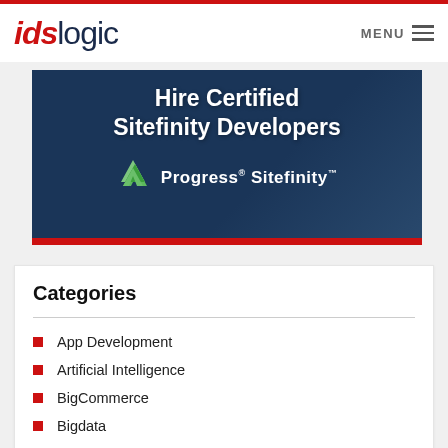idslogic — MENU
[Figure (illustration): Banner image with dark blue background showing text 'Hire Certified Sitefinity Developers' and Progress Sitefinity logo with green arrow icon]
Categories
App Development
Artificial Intelligence
BigCommerce
Bigdata
BlockChain Technology
Business